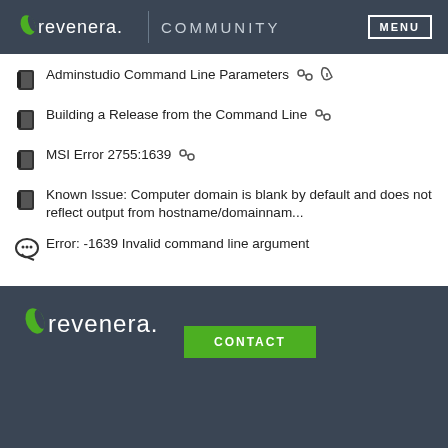revenera. COMMUNITY  MENU
Adminstudio Command Line Parameters
Building a Release from the Command Line
MSI Error 2755:1639
Known Issue: Computer domain is blank by default and does not reflect output from hostname/domainnam...
Error: -1639 Invalid command line argument
revenera.  CONTACT